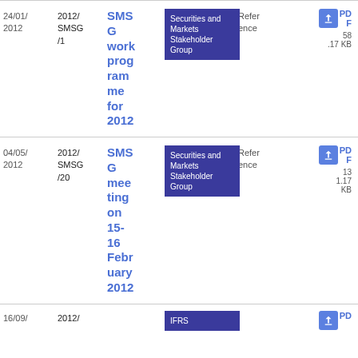| Date | Reference | Title | Tag | Type | Download |
| --- | --- | --- | --- | --- | --- |
| 24/01/2012 | 2012/SMSG/1 | SMSG work programme for 2012 | Securities and Markets Stakeholder Group | Reference | PDF 58.17 KB |
| 04/05/2012 | 2012/SMSG/20 | SMSG meeting on 15-16 February 2012 | Securities and Markets Stakeholder Group | Reference | PDF 131.17 KB |
| 16/09/... | 2012/... | ... | IFRS | ... | PDF ... |